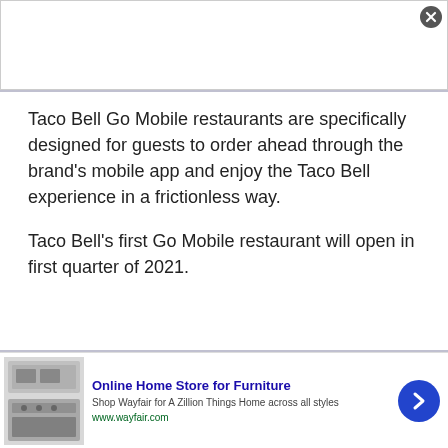[Figure (screenshot): Top advertisement banner area, white background, mostly blank with a close (X) button in the top right corner.]
Taco Bell Go Mobile restaurants are specifically designed for guests to order ahead through the brand's mobile app and enjoy the Taco Bell experience in a frictionless way.
Taco Bell's first Go Mobile restaurant will open in first quarter of 2021.
[Figure (screenshot): Bottom advertisement banner for Wayfair Online Home Store for Furniture. Shows kitchen appliance image on left, ad text in center with title 'Online Home Store for Furniture', subtitle 'Shop Wayfair for A Zillion Things Home across all styles', URL 'www.wayfair.com', and a blue circular arrow button on right. Has a close X button and info icon at top right.]